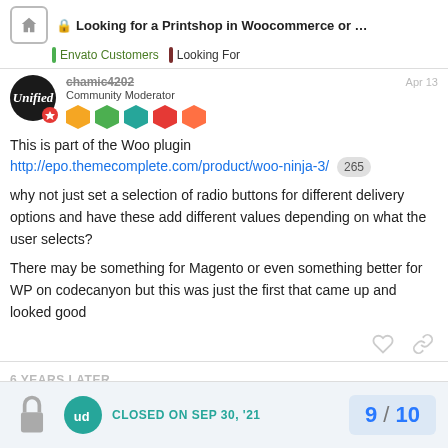Looking for a Printshop in Woocommerce or ... | Envato Customers | Looking For
chamic4202 Community Moderator Apr 13
This is part of the Woo plugin
http://epo.themecomplete.com/product/woo-ninja-3/ 265
why not just set a selection of radio buttons for different delivery options and have these add different values depending on what the user selects?
There may be something for Magento or even something better for WP on codecanyon but this was just the first that came up and looked good
6 YEARS LATER
CLOSED ON SEP 30, '21
9 / 10